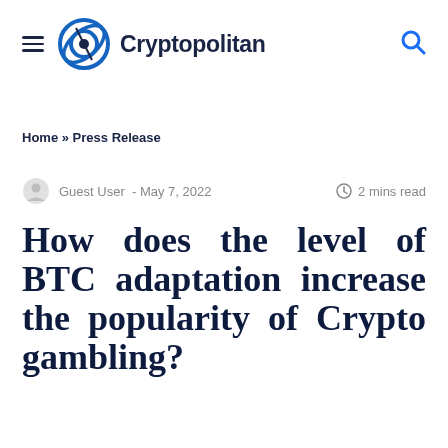Cryptopolitan
Home » Press Release
Guest User - May 7, 2022  2 mins read
How does the level of BTC adaptation increase the popularity of Crypto gambling?